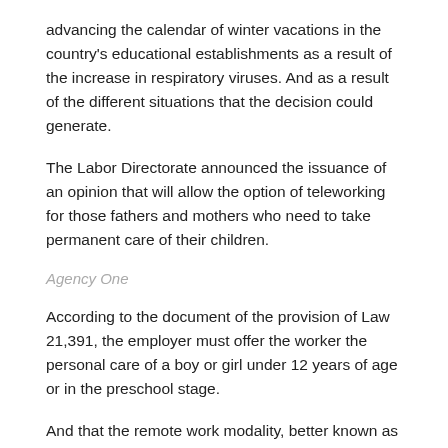advancing the calendar of winter vacations in the country's educational establishments as a result of the increase in respiratory viruses. And as a result of the different situations that the decision could generate.
The Labor Directorate announced the issuance of an opinion that will allow the option of teleworking for those fathers and mothers who need to take permanent care of their children.
Agency One
According to the document of the provision of Law 21,391, the employer must offer the worker the personal care of a boy or girl under 12 years of age or in the preschool stage.
And that the remote work modality, better known as telecommuting, be affected by the situation.
People who opt for telecommuting through this point must prove